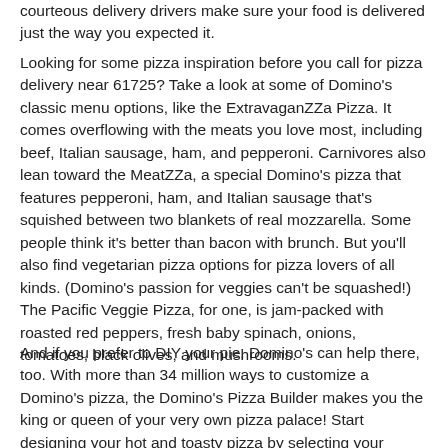courteous delivery drivers make sure your food is delivered just the way you expected it.
Looking for some pizza inspiration before you call for pizza delivery near 61725? Take a look at some of Domino's classic menu options, like the ExtravaganZZa Pizza. It comes overflowing with the meats you love most, including beef, Italian sausage, ham, and pepperoni. Carnivores also lean toward the MeatZZa, a special Domino's pizza that features pepperoni, ham, and Italian sausage that's squished between two blankets of real mozzarella. Some people think it's better than bacon with brunch. But you'll also find vegetarian pizza options for pizza lovers of all kinds. (Domino's passion for veggies can't be squashed!) The Pacific Veggie Pizza, for one, is jam-packed with roasted red peppers, fresh baby spinach, onions, tomatoes, black olives, and mushrooms.
And if you prefer to DIY your pie, Domino's can help there, too. With more than 34 million ways to customize a Domino's pizza, the Domino's Pizza Builder makes you the king or queen of your very own pizza palace! Start designing your hot and toasty pizza by selecting your favorite crust: big and Brooklyn Style, hand-tossed with garlic seasoning, or crunchy thin that's square cut so